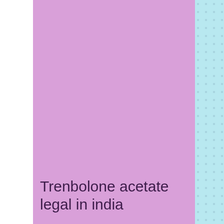[Figure (other): Pink rectangular panel covering most of the page with a light blue dotted panel on the right side]
Trenbolone acetate legal in india